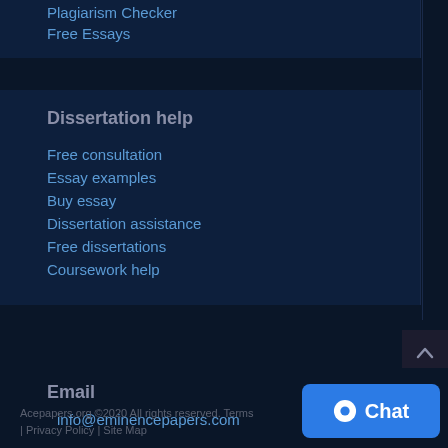Plagiarism Checker
Free Essays
Dissertation help
Free consultation
Essay examples
Buy essay
Dissertation assistance
Free dissertations
Coursework help
Email
info@eminencepapers.com
Acepapers.org ©2020 All rights reserved. Terms | Privacy Policy | Site Map